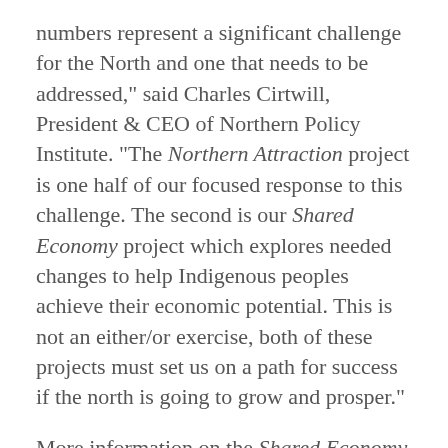numbers represent a significant challenge for the North and one that needs to be addressed," said Charles Cirtwill, President & CEO of Northern Policy Institute. "The Northern Attraction project is one half of our focused response to this challenge. The second is our Shared Economy project which explores needed changes to help Indigenous peoples achieve their economic potential. This is not an either/or exercise, both of these projects must set us on a path for success if the north is going to grow and prosper."
More information on the Shared Economy project will be released later this spring.
Northern Attraction is an ongoing project that will include outreach efforts to collect baseline information on the types of newcomers in Northern Ontario and existing settlement and attraction programs and